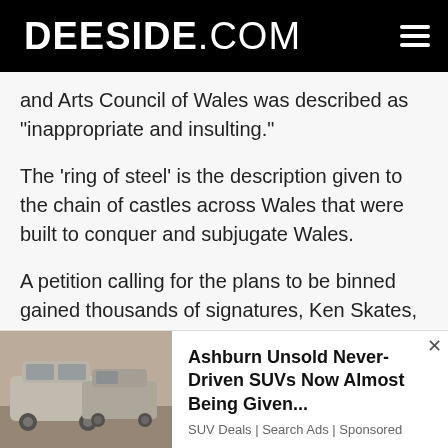DEESIDE.COM
and Arts Council of Wales was described as “inappropriate and insulting.”
The ‘ring of steel’ is the description given to the chain of castles across Wales that were built to conquer and subjugate Wales.
A petition calling for the plans to be binned gained thousands of signatures, Ken Skates, the Welsh Economy Minister eventually scrapped the plans.
Read Next
[Figure (photo): Photo of dusty unsold SUV cars in a showroom/lot]
Ashburn Unsold Never-Driven SUVs Now Almost Being Given...
SUV Deals | Search Ads | Sponsored